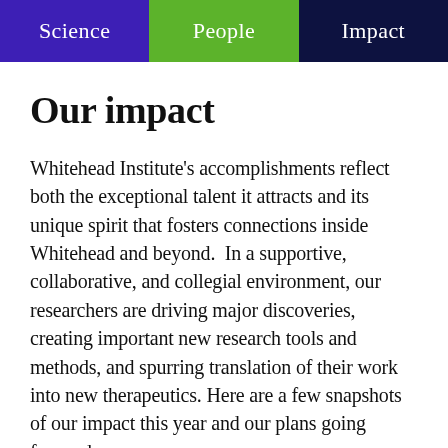Science | People | Impact
Our impact
Whitehead Institute's accomplishments reflect both the exceptional talent it attracts and its unique spirit that fosters connections inside Whitehead and beyond.  In a supportive, collaborative, and collegial environment, our researchers are driving major discoveries, creating important new research tools and methods, and spurring translation of their work into new therapeutics. Here are a few snapshots of our impact this year and our plans going forward.